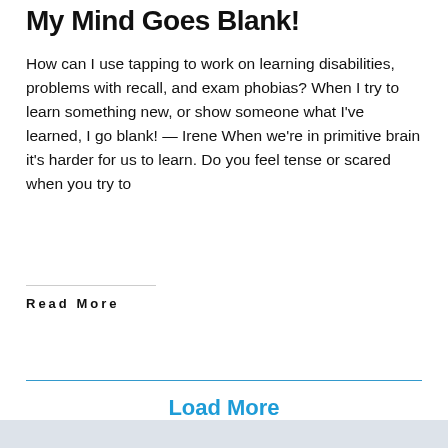My Mind Goes Blank!
How can I use tapping to work on learning disabilities, problems with recall, and exam phobias? When I try to learn something new, or show someone what I've learned, I go blank! — Irene When we're in primitive brain it's harder for us to learn. Do you feel tense or scared when you try to
Read More
Load More